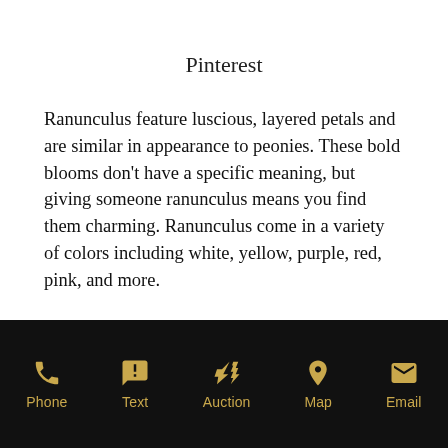Pinterest
Ranunculus feature luscious, layered petals and are similar in appearance to peonies. These bold blooms don't have a specific meaning, but giving someone ranunculus means you find them charming. Ranunculus come in a variety of colors including white, yellow, purple, red, pink, and more.
Phone | Text | Auction | Map | Email